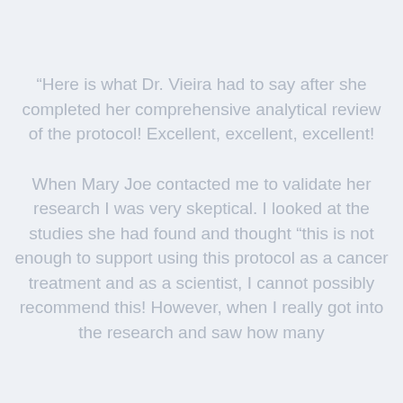“Here is what Dr. Vieira had to say after she completed her comprehensive analytical review of the protocol! Excellent, excellent, excellent!
When Mary Joe contacted me to validate her research I was very skeptical. I looked at the studies she had found and thought “this is not enough to support using this protocol as a cancer treatment and as a scientist, I cannot possibly recommend this! However, when I really got into the research and saw how many